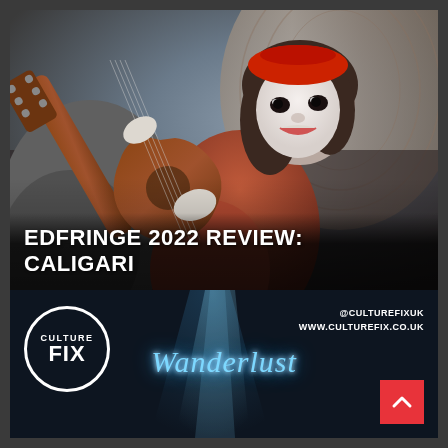[Figure (photo): A mime performer wearing white face paint and a red beret, holding a guitar/violin instrument, dramatic performance shot]
EDFRINGE 2022 REVIEW: CALIGARI
[Figure (logo): Culture Fix circular logo with white border on dark background with blue spotlight effects and Wanderlust neon text]
@CULTUREFIXUK
WWW.CULTUREFIX.CO.UK